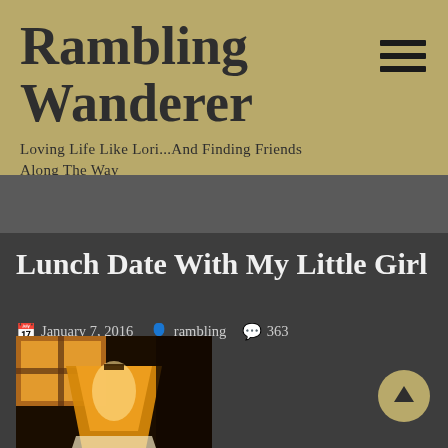Rambling Wanderer
Loving Life Like Lori...And Finding Friends Along The Way
Lunch Date With My Little Girl
January 7, 2016  rambling  363 Comments
[Figure (photo): Warm amber-toned photo of a lamp and window interior scene]